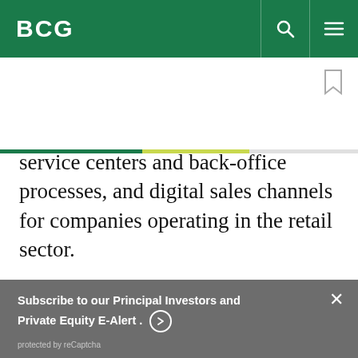BCG
service centers and back-office processes, and digital sales channels for companies operating in the retail sector.
Subscribe to our Principal Investors and Private Equity E-Alert. ⊙
protected by reCaptcha
By using this site, you agree with our use of cookies.
I consent to cookies
Want to know more?
Read our Cookie Policy